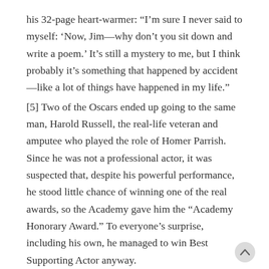his 32-page heart-warmer: “I’m sure I never said to myself: ‘Now, Jim—why don’t you sit down and write a poem.’ It’s still a mystery to me, but I think probably it’s something that happened by accident—like a lot of things have happened in my life.”
[5] Two of the Oscars ended up going to the same man, Harold Russell, the real-life veteran and amputee who played the role of Homer Parrish. Since he was not a professional actor, it was suspected that, despite his powerful performance, he stood little chance of winning one of the real awards, so the Academy gave him the “Academy Honorary Award.” To everyone’s surprise, including his own, he managed to win Best Supporting Actor anyway.
[6] Il Postino’s message seems to be, as a news filmstrip about Pablo Neruda explains early on, that “women go crazy for [...]poets” and that Neruda was like a god…